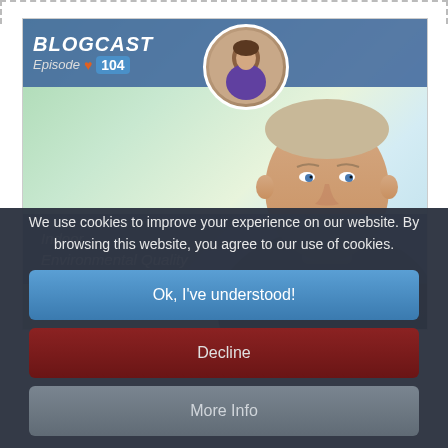[Figure (screenshot): Blogcast episode 104 card showing Indoor Environmental Quality with Michael D. Schrantz, featuring a blue header bar with BLOGCAST text, a circular avatar, a man's face, a blue middle band with 'Indoor Environmental Quality' text, and BetterHealth logo at the bottom.]
We use cookies to improve your experience on our website. By browsing this website, you agree to our use of cookies.
Ok, I've understood!
Decline
More Info